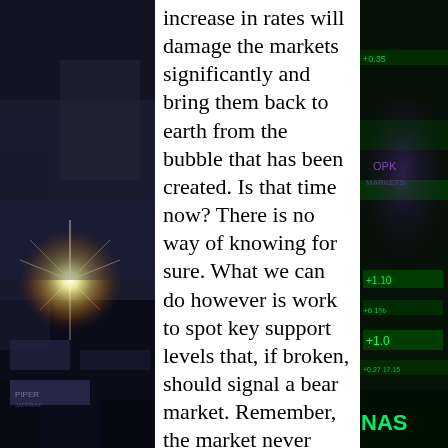[Figure (photo): Dark photo of a stock exchange trading floor with bright starburst light on the left side, dimly lit financial trading environment]
increase in rates will damage the markets significantly and bring them back to earth from the bubble that has been created. Is that time now? There is no way of knowing for sure. What we can do however is work to spot key support levels that, if broken, should signal a bear market. Remember, the market never falls straight down or rises straight up. Eventually we will enter a trend with peaks and valleys. I expect to see a market rally topside within the next 7-10
[Figure (photo): Dark photo of a NASDAQ stock ticker display board showing green numbers and the NASDAQ logo, financial market data display]